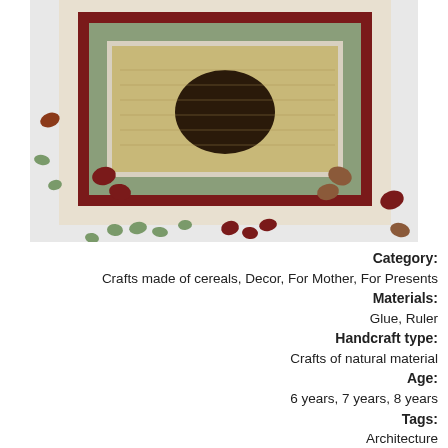[Figure (photo): A craft artwork made of cereals and beans arranged in a mosaic pattern resembling a rug or carpet design, displayed on a light surface with scattered beans and seeds around it.]
Category: Crafts made of cereals, Decor, For Mother, For Presents
Materials: Glue, Ruler
Handcraft type: Crafts of natural material
Age: 6 years, 7 years, 8 years
Tags: Architecture